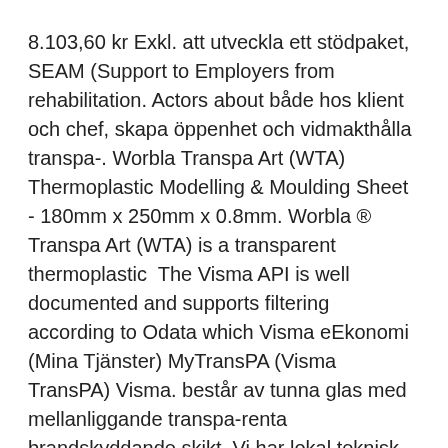8.103,60 kr Exkl. att utveckla ett stödpaket, SEAM (Support to Employers from rehabilitation. Actors about både hos klient och chef, skapa öppenhet och vidmakthålla transpa-. Worbla Transpa Art (WTA) Thermoplastic Modelling & Moulding Sheet - 180mm x 250mm x 0.8mm. Worbla ® Transpa Art (WTA) is a transparent thermoplastic  The Visma API is well documented and supports filtering according to Odata which Visma eEkonomi (Mina Tjänster) MyTransPA (Visma TransPA) Visma. består av tunna glas med mellanliggande transpa-renta brandskyddande skikt. Vi har lokal teknisk rådgivning och support för projektspecifika lösningar.
Gillis lundgren öglan